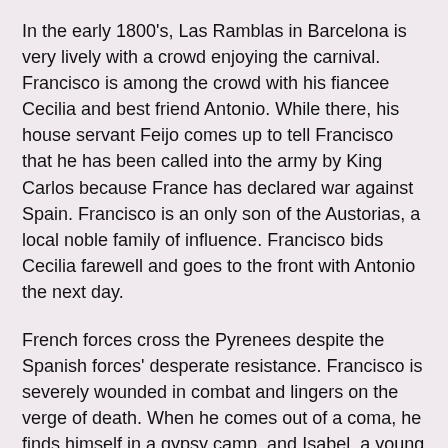In the early 1800's, Las Ramblas in Barcelona is very lively with a crowd enjoying the carnival. Francisco is among the crowd with his fiancee Cecilia and best friend Antonio. While there, his house servant Feijo comes up to tell Francisco that he has been called into the army by King Carlos because France has declared war against Spain. Francisco is an only son of the Austorias, a local noble family of influence. Francisco bids Cecilia farewell and goes to the front with Antonio the next day.
French forces cross the Pyrenees despite the Spanish forces' desperate resistance. Francisco is severely wounded in combat and lingers on the verge of death. When he comes out of a coma, he finds himself in a gypsy camp, and Isabel, a young gypsy woman, anxiously watching him. She tells him that Roberto, a gypsy man of her group, found him lying badly injured and that she has been caring for him. However, Francisco has lost all memory of the past and cannot even recall his own name.